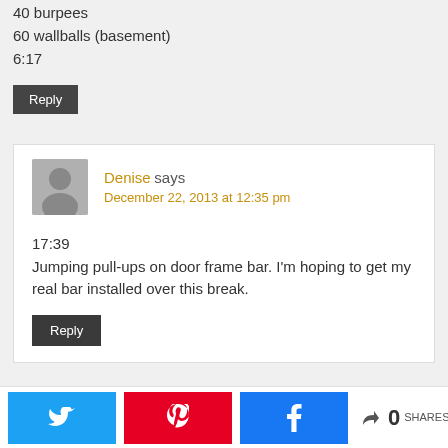40 burpees
60 wallballs (basement)
6:17
Reply
Denise says
December 22, 2013 at 12:35 pm
17:39
Jumping pull-ups on door frame bar. I'm hoping to get my real bar installed over this break.
Reply
0 SHARES